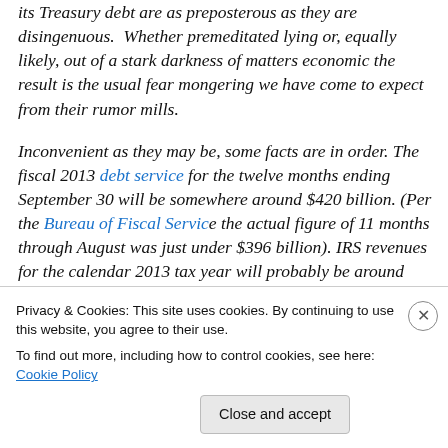its Treasury debt are as preposterous as they are disingenuous. Whether premeditated lying or, equally likely, out of a stark darkness of matters economic the result is the usual fear mongering we have come to expect from their rumor mills.

Inconvenient as they may be, some facts are in order. The fiscal 2013 debt service for the twelve months ending September 30 will be somewhere around $420 billion. (Per the Bureau of Fiscal Service the actual figure of 11 months through August was just under $396 billion). IRS revenues for the calendar 2013 tax year will probably be around
Privacy & Cookies: This site uses cookies. By continuing to use this website, you agree to their use.
To find out more, including how to control cookies, see here: Cookie Policy
[Close and accept]